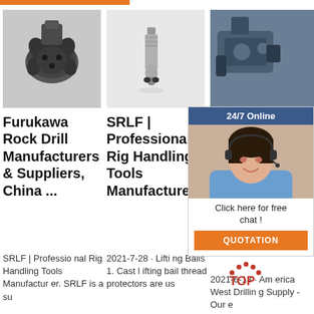[Figure (photo): Furukawa rock drill bit, black/grey, multi-cutter head, on light background]
[Figure (photo): Drill rod or lifting bail tool, metallic silver, on white background]
[Figure (photo): Pipe handling tool, partial view, dark blue/grey, with customer service chat overlay]
Furukawa Rock Drill Manufacturers & Suppliers, China ...
SRLF | Professional Rig Handling Tools Manufacturer
Pipe Handling Tools Equipment - Paramount Oil Tools
SRLF | Professional Rig Handling Tools Manufacturer. SRLF is a su
2021-7-28 · Lifting Bails 1. Cast lifting bail thread protectors are us
2021-6-13 · America West Drilling Supply - Our e